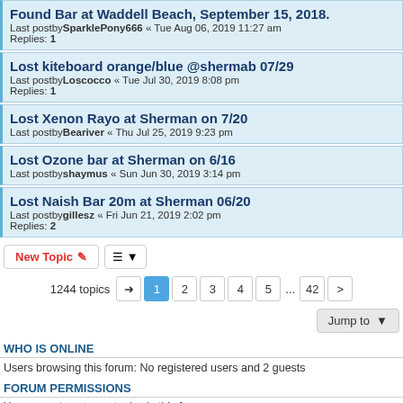Found Bar at Waddell Beach, September 15, 2018.
Last postbySparklePony666 « Tue Aug 06, 2019 11:27 am
Replies: 1
Lost kiteboard orange/blue @shermab 07/29
Last postbyLoscocco « Tue Jul 30, 2019 8:08 pm
Replies: 1
Lost Xenon Rayo at Sherman on 7/20
Last postbyBeariver « Thu Jul 25, 2019 9:23 pm
Lost Ozone bar at Sherman on 6/16
Last postbyshaymus « Sun Jun 30, 2019 3:14 pm
Lost Naish Bar 20m at Sherman 06/20
Last postbygillesz « Fri Jun 21, 2019 2:02 pm
Replies: 2
New Topic | sort | 1244 topics | 1 2 3 4 5 ... 42 | Jump to
WHO IS ONLINE
Users browsing this forum: No registered users and 2 guests
FORUM PERMISSIONS
You cannot post new topics in this forum
You cannot reply to topics in this forum